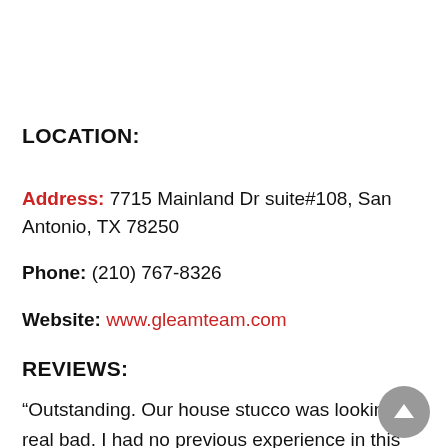LOCATION:
Address: 7715 Mainland Dr suite#108, San Antonio, TX 78250
Phone: (210) 767-8326
Website: www.gleamteam.com
REVIEWS:
“Outstanding. Our house stucco was looking real bad. I had no previous experience in this area, so I searched net. Found Gleam Team with good reviews. So I got a